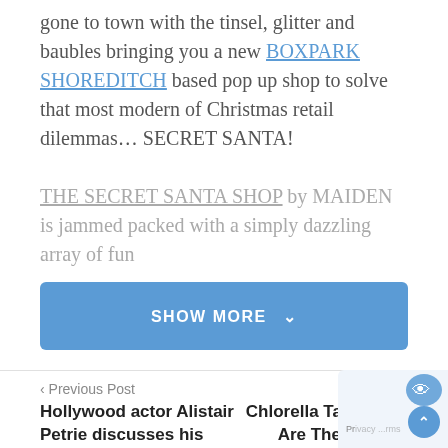gone to town with the tinsel, glitter and baubles bringing you a new BOXPARK SHOREDITCH based pop up shop to solve that most modern of Christmas retail dilemmas… SECRET SANTA!
THE SECRET SANTA SHOP by MAIDEN is jammed packed with a simply dazzling array of fun
[Figure (other): Blue 'SHOW MORE' button with downward chevron]
< Previous Post   Next Post >
Hollywood actor Alistair Petrie discusses his prematurely born son on World Prema...
Chlorella Tablets: What Are They & What Do They Do?